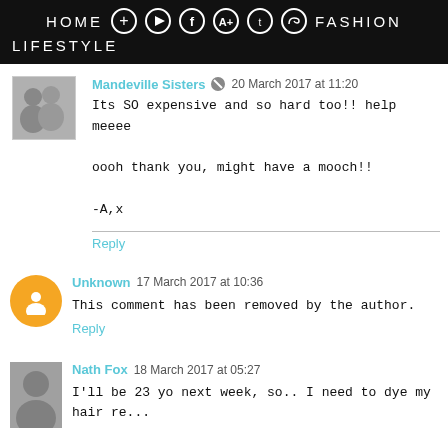HOME  LIFESTYLE  FASHION
Mandeville Sisters  20 March 2017 at 11:20
Its SO expensive and so hard too!! help meeee
oooh thank you, might have a mooch!!
-A,x
Reply
Unknown  17 March 2017 at 10:36
This comment has been removed by the author.
Reply
Nath Fox  18 March 2017 at 05:27
I'll be 23 yo next week, so.. I need to dye my hair re...